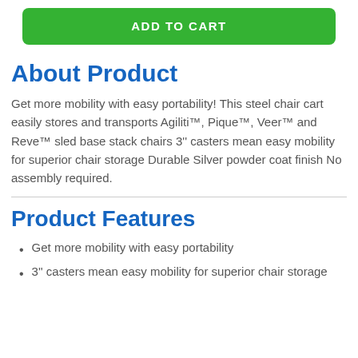[Figure (other): Green 'ADD TO CART' button]
About Product
Get more mobility with easy portability! This steel chair cart easily stores and transports Agiliti™, Pique™, Veer™ and Reve™ sled base stack chairs 3'' casters mean easy mobility for superior chair storage Durable Silver powder coat finish No assembly required.
Product Features
Get more mobility with easy portability
3'' casters mean easy mobility for superior chair storage